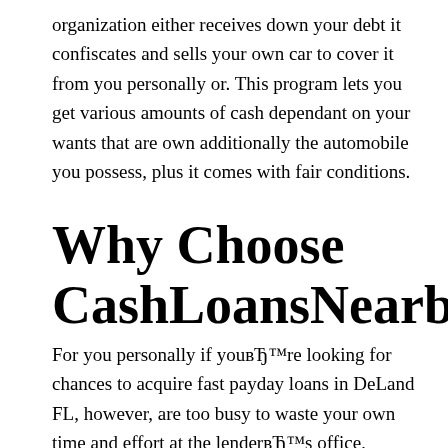organization either receives down your debt it confiscates and sells your own car to cover it from you personally or. This program lets you get various amounts of cash dependant on your wants that are own additionally the automobile you possess, plus it comes with fair conditions.
Why Choose CashLoansNearby?
For you personally if youвЂ™re looking for chances to acquire fast payday loans in DeLand FL, however, are too busy to waste your own time and effort at the lenderвЂ™s office,